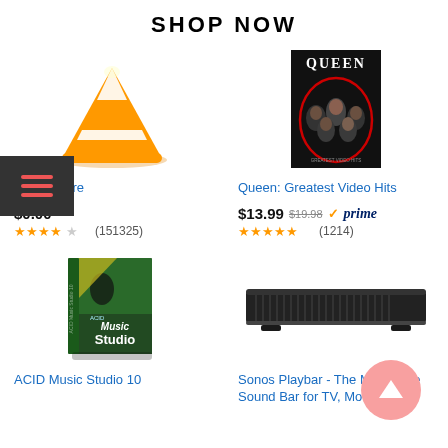SHOP NOW
[Figure (illustration): VLC media player orange traffic cone logo]
[Figure (photo): Queen: Greatest Video Hits DVD cover showing band members]
VLC for Fire
Queen: Greatest Video Hits
$0.00  ★★★★☆ (151325)
$13.99  $19.98  ✓prime  ★★★★★ (1214)
[Figure (photo): ACID Music Studio 10 software box]
[Figure (photo): Sonos Playbar - slim black soundbar for TV]
ACID Music Studio 10
Sonos Playbar - The Mountable Sound Bar for TV, Movies…